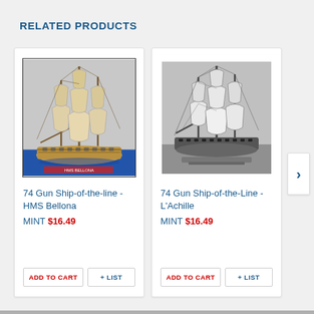RELATED PRODUCTS
[Figure (photo): Model of 74 Gun Ship-of-the-line HMS Bellona with blue base and colored sails]
74 Gun Ship-of-the-line - HMS Bellona
MINT $16.49
[Figure (photo): Model of 74 Gun Ship-of-the-Line L'Achille in black and white photograph]
74 Gun Ship-of-the-Line - L'Achille
MINT $16.49